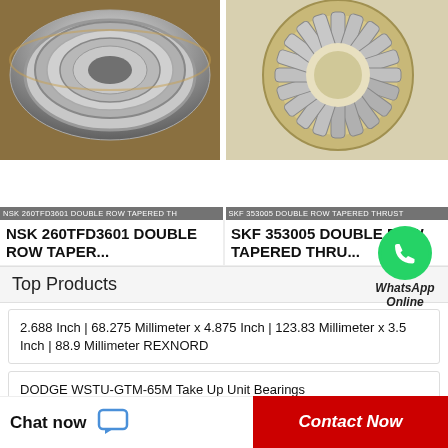[Figure (photo): NSK 260TFD3601 Double Row Tapered Thrust bearing - metallic bearing with grooved rings, silver/gold tones]
NSK 260TFD3601 DOUBLE ROW TAPERED TH
[Figure (photo): SKF 353005 Double Row Tapered Thrust bearing - round bearing with cylindrical rollers in tan cage, top view]
SKF 353005 DOUBLE ROW TAPERED THRUST
NSK 260TFD3601 DOUBLE ROW TAPER...
SKF 353005 DOUBLE ROW TAPERED THRU...
Top Products
[Figure (logo): WhatsApp green circle icon with phone handset, labeled WhatsApp Online]
2.688 Inch | 68.275 Millimeter x 4.875 Inch | 123.83 Millimeter x 3.5 Inch | 88.9 Millimeter REXNORD
DODGE WSTU-GTM-65M Take Up Unit Bearings
SUMITOMO CSTM63-100E-15 Double Gear...
Chat now
Contact Now